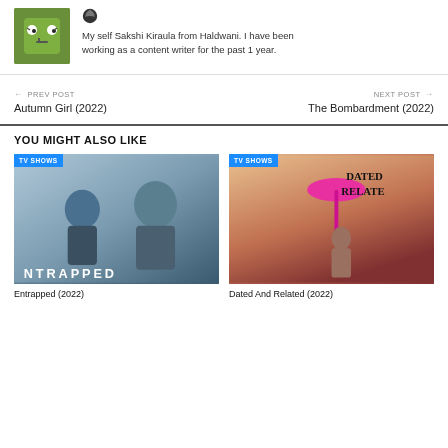My self Sakshi Kiraula from Haldwani. I have been working as a content writer for the past 1 year.
← PREV POST
Autumn Girl (2022)
NEXT POST →
The Bombardment (2022)
YOU MIGHT ALSO LIKE
[Figure (photo): TV show image for Entrapped (2022) with TV SHOWS badge]
Entrapped (2022)
[Figure (photo): TV show image for Dated And Related (2022) with TV SHOWS badge]
Dated And Related (2022)